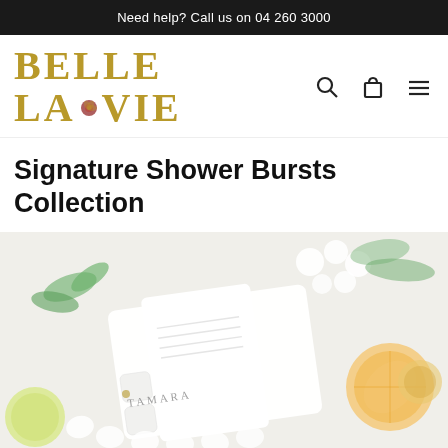Need help? Call us on 04 260 3000
[Figure (logo): Belle La Vie brand logo in gold serif font with a floral motif between LA and VIE]
Signature Shower Bursts Collection
[Figure (photo): Product photo of Tamara branded Signature Shower Bursts collection in a white tray, surrounded by mint leaves, citrus slices, and white flowers on a light background]